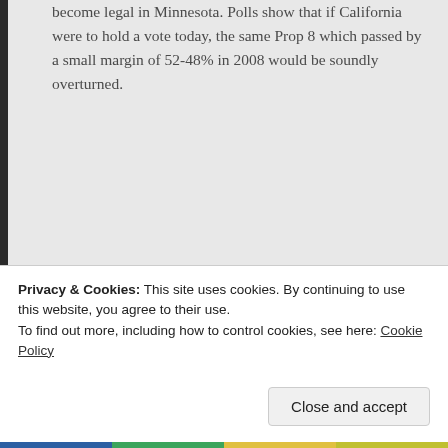become legal in Minnesota. Polls show that if California were to hold a vote today, the same Prop 8 which passed by a small margin of 52-48% in 2008 would be soundly overturned.
★ Liked by 2 people
[Figure (other): User avatar icon for Liza — blue rounded square with white snowflake/asterisk pattern]
Liza says: April 5, 2015 at 7:17 am
Actually, it did happen in Washington state in 2012.
Privacy & Cookies: This site uses cookies. By continuing to use this website, you agree to their use.
To find out more, including how to control cookies, see here: Cookie Policy
Close and accept